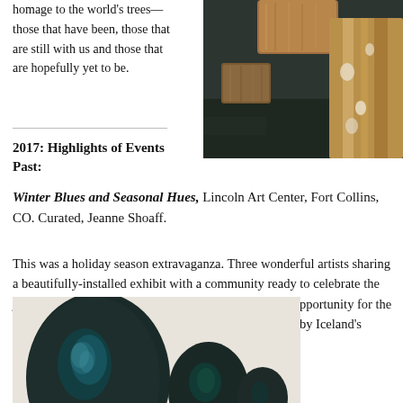homage to the world's trees—those that have been, those that are still with us and those that are hopefully yet to be.
[Figure (photo): Close-up photograph of wood pieces/blocks with varied grain and color on a dark surface]
2017: Highlights of Events Past:
Winter Blues and Seasonal Hues, Lincoln Art Center, Fort Collins, CO. Curated, Jeanne Shoaff.
This was a holiday season extravaganza. Three wonderful artists sharing a beautifully-installed exhibit with a community ready to celebrate the joy of Christmas and into the New Year. A wonderful opportunity for the inaugural exhibit of my paintings, Ascensions inspired by Iceland's Northern Lights.
[Figure (photo): Dark sculptural stone/ceramic objects with smooth oval forms showing blue-green iridescent coloring on a light background]